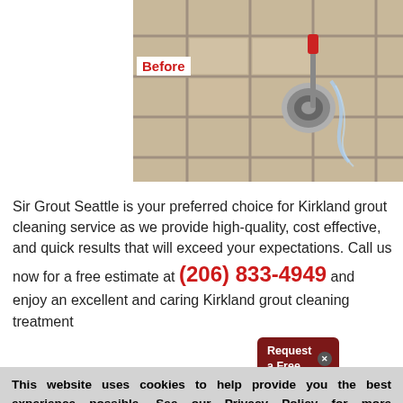[Figure (photo): Before photo of tile floor being cleaned, with cleaning tool and stream of water visible]
Before
Sir Grout Seattle is your preferred choice for Kirkland grout cleaning service as we provide high-quality, cost effective, and quick results that will exceed your expectations. Call us now for a free estimate at (206) 833-4949 and enjoy an excellent and caring Kirkland grout cleaning treatment [partially obscured]
[Figure (other): Request a Free [popup badge with X close button]]
This website uses cookies to help provide you the best experience possible. See our Privacy Policy for more information. By continuing without changing your cookie settings within your browser, you are agreeing to our use of cookies.
ACCEPT